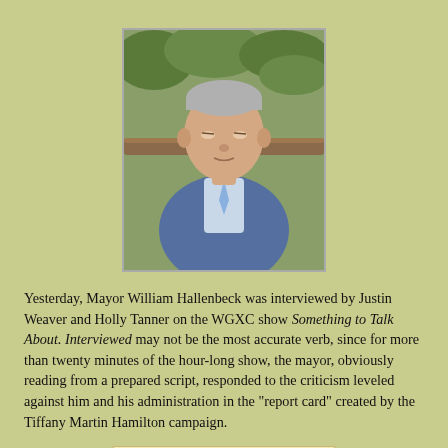[Figure (photo): Photo of Mayor William Hallenbeck, a middle-aged man with short gray hair wearing a blue suit jacket and light blue tie, looking downward, with trees in the background.]
Yesterday, Mayor William Hallenbeck was interviewed by Justin Weaver and Holly Tanner on the WGXC show Something to Talk About. Interviewed may not be the most accurate verb, since for more than twenty minutes of the hour-long show, the mayor, obviously reading from a prepared script, responded to the criticism leveled against him and his administration in the "report card" created by the Tiffany Martin Hamilton campaign.
[Figure (other): Report card image with 'FAIL' stamp and header 'REPORT CARD' with columns 'Mayor's Stated Goal' and 'Result']